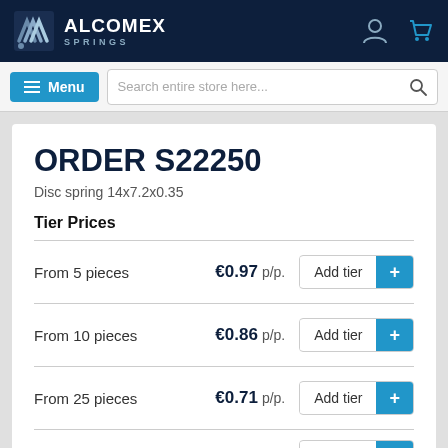ALCOMEX SPRINGS
ORDER S22250
Disc spring 14x7.2x0.35
Tier Prices
| Quantity | Price | Action |
| --- | --- | --- |
| From 5 pieces | €0.97 p/p. | Add tier |
| From 10 pieces | €0.86 p/p. | Add tier |
| From 25 pieces | €0.71 p/p. | Add tier |